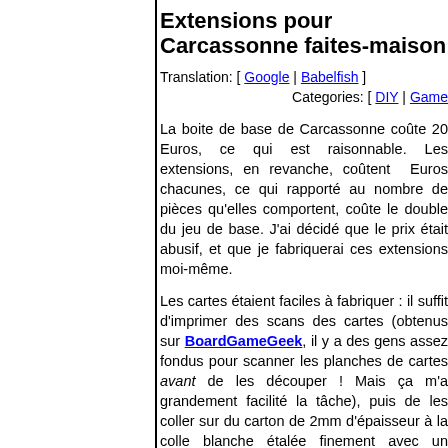Extensions pour Carcassonne faites-maison
Translation: [ Google | Babelfish ]
Categories: [ DIY | Game…
La boite de base de Carcassonne coûte 20 Euros, ce qui est raisonnable. Les extensions, en revanche, coûtent … Euros chacunes, ce qui rapporté au nombre de pièces qu'elles comportent, coûte le double du jeu de base. J'ai décidé que le prix était abusif, et que je fabriquerai ces extensions moi-même.
Les cartes étaient faciles à fabriquer : il suffit d'imprimer des scans des cartes (obtenus sur BoardGameGeek, il y a des gens assez fondus pour scanner les planches de cartes avant de les découper ! Mais ça m'a grandement facilité la tâche), puis de les coller sur du carton de 2mm d'épaisseur à la colle blanche étalée finement avec une spatule large, puis de couper au cutter…